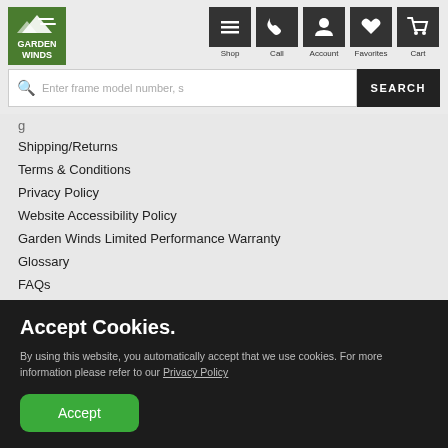[Figure (logo): Garden Winds logo - green box with mountain/wind graphic and text GARDEN WINDS]
Shop  Call  Account  Favorites  Cart
Enter frame model number, s... SEARCH
Shipping/Returns
Terms & Conditions
Privacy Policy
Website Accessibility Policy
Garden Winds Limited Performance Warranty
Glossary
FAQs
Accept Cookies.
By using this website, you automatically accept that we use cookies. For more information please refer to our Privacy Policy
Accept